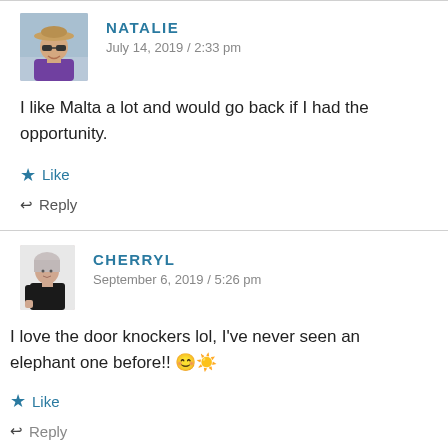[Figure (photo): Avatar photo of Natalie, a woman wearing a hat and sunglasses outdoors]
NATALIE
July 14, 2019 / 2:33 pm
I like Malta a lot and would go back if I had the opportunity.
★ Like
↩ Reply
[Figure (photo): Avatar photo of Cherryl, a woman in a black outfit]
CHERRYL
September 6, 2019 / 5:26 pm
I love the door knockers lol, I've never seen an elephant one before!! 😊☀
★ Like
↩ Reply